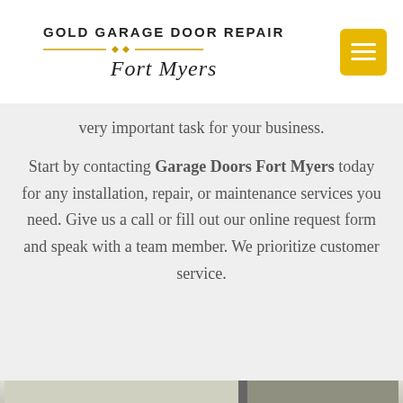GOLD GARAGE DOOR REPAIR Fort Myers
very important task for your business.
Start by contacting Garage Doors Fort Myers today for any installation, repair, or maintenance services you need. Give us a call or fill out our online request form and speak with a team member. We prioritize customer service.
[Figure (photo): Two large commercial glass panel garage doors, partially open, photographed from inside showing bright natural light through the panels.]